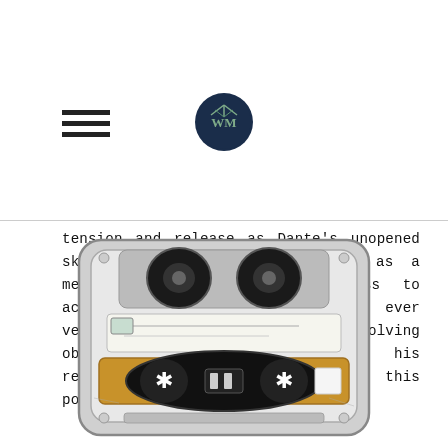[navigation header with hamburger menu and logo]
tension and release as Dante's unopened sketchbook frequently stands in as a metaphor for Ari's unwillingness to access his inner desires. Without ever veering into cliche, Dante's evolving obsession with art parallels his relationship with Ari throughout this poignant book.
[Figure (illustration): Watercolor illustration of a cassette tape with gold label, black reels, and gray/white casing details]